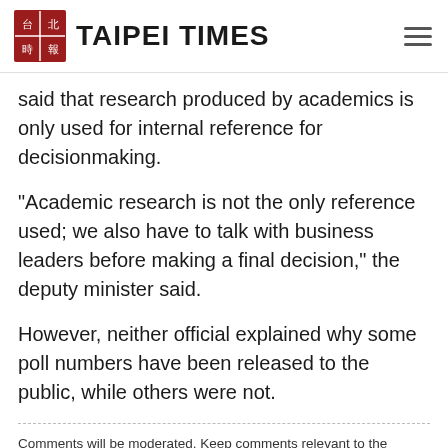TAIPEI TIMES
said that research produced by academics is only used for internal reference for decisionmaking.
“Academic research is not the only reference used; we also have to talk with business leaders before making a final decision,” the deputy minister said.
However, neither official explained why some poll numbers have been released to the public, while others were not.
Comments will be moderated. Keep comments relevant to the article. Remarks containing abusive and obscene language, personal attacks of any kind or promotion will be removed and the user banned. Final decision will be at the discretion of the Taipei Times.